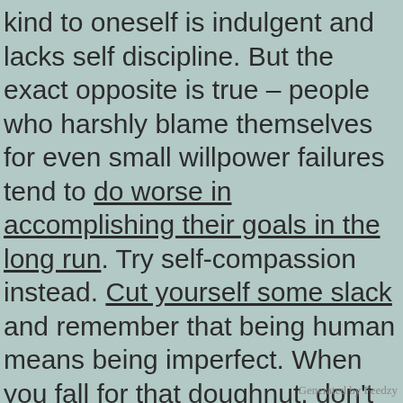kind to oneself is indulgent and lacks self discipline. But the exact opposite is true – people who harshly blame themselves for even small willpower failures tend to do worse in accomplishing their goals in the long run. Try self-compassion instead. Cut yourself some slack and remember that being human means being imperfect. When you fall for that doughnut, don't despair, and don't throw in the towel. Treat yourself with care and understanding and then recommit to your goal the following day. Remember, you aren't likely to achieve your New Year's resolutions by being self-critical and hard-
Generated by Feedzy